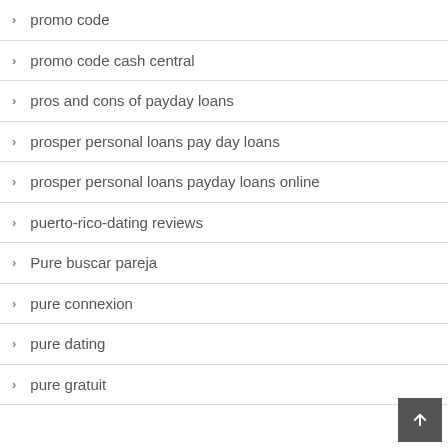promo code
promo code cash central
pros and cons of payday loans
prosper personal loans pay day loans
prosper personal loans payday loans online
puerto-rico-dating reviews
Pure buscar pareja
pure connexion
pure dating
pure gratuit